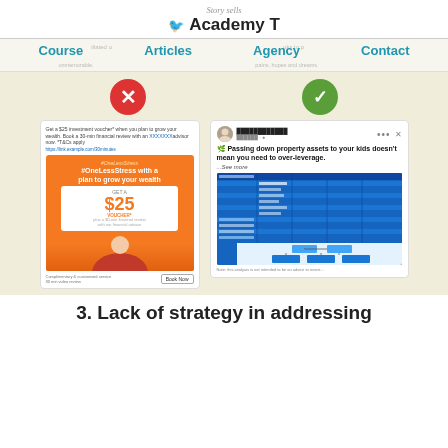Story sells Academy T
Course  Articles  Agency  Contact
[Figure (screenshot): Comparison of two social media posts: left side shows a red X icon above an orange financial ad with #OneLessStress and a $25 voucher offer; right side shows a green checkmark above a Facebook post about passing down property assets to kids without over-leveraging, with spreadsheet screenshots attached.]
3. Lack of strategy in addressing